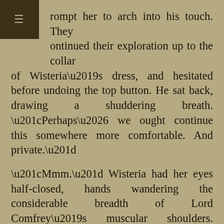rompt her to arch into his touch. They ontinued their exploration up to the collar of Wisteria’s dress, and hesitated before undoing the top button. He sat back, drawing a shuddering breath. “Perhaps… we ought continue this somewhere more comfortable. And private.”
“Mmm.” Wisteria had her eyes half-closed, hands wandering the considerable breadth of Lord Comfrey’s muscular shoulders. “Whatever you wish, my lords.”
Don’t want to wait until the next post to read more? Buy A Rational Arrangement